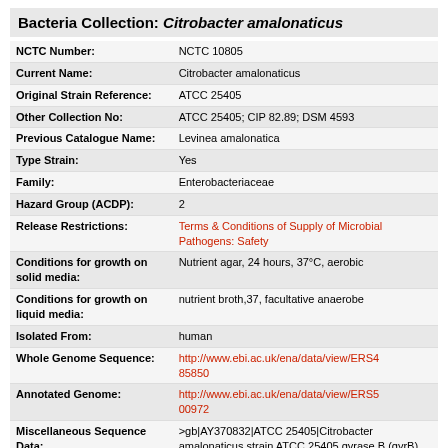Bacteria Collection: Citrobacter amalonaticus
| Field | Value |
| --- | --- |
| NCTC Number: | NCTC 10805 |
| Current Name: | Citrobacter amalonaticus |
| Original Strain Reference: | ATCC 25405 |
| Other Collection No: | ATCC 25405; CIP 82.89; DSM 4593 |
| Previous Catalogue Name: | Levinea amalonatica |
| Type Strain: | Yes |
| Family: | Enterobacteriaceae |
| Hazard Group (ACDP): | 2 |
| Release Restrictions: | Terms & Conditions of Supply of Microbial Pathogens: Safety |
| Conditions for growth on solid media: | Nutrient agar, 24 hours, 37°C, aerobic |
| Conditions for growth on liquid media: | nutrient broth,37, facultative anaerobe |
| Isolated From: | human |
| Whole Genome Sequence: | http://www.ebi.ac.uk/ena/data/view/ERS485850 |
| Annotated Genome: | http://www.ebi.ac.uk/ena/data/view/ERS500972 |
| Miscellaneous Sequence Data: | >gb|AY370832|ATCC 25405|Citrobacter amalonaticus strain ATCC 25405 gyrase B (gyrB) gene,partial cds.| aagtctccggcggt... |
| Bibliography: | YOUNG V M 1971 INT J SYST BACT 21 58 |